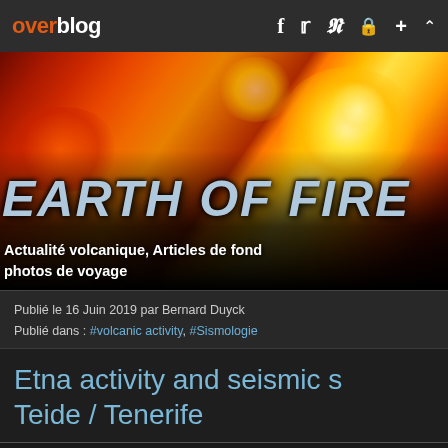overblog
[Figure (photo): Fire/lava photo background with orange, red, and yellow flames or lava with large text overlay reading 'EARTH OF FIRE' and subtitle 'Actualité volcanique, Articles de fond photos de voyage']
Publié le 16 Juin 2019 par Bernard Duyck
Publié dans : #volcanic activity, #Sismologie
Etna activity and seismic s Teide / Tenerife